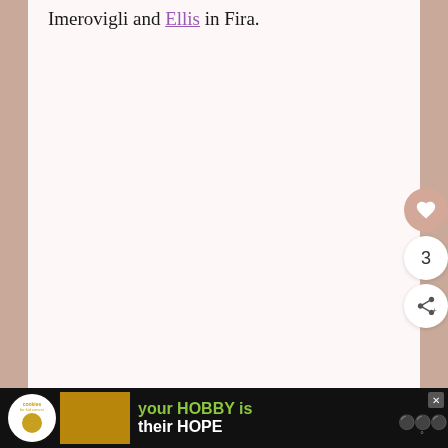Imerovigli and Ellis in Fira.
[Figure (screenshot): Floating action buttons: heart/like button (pink circle), count badge showing 3, and share button (white circle with share icon)]
[Figure (screenshot): Advertisement banner at bottom: dark background with 'cookies for kid cancer' logo (white circle with cookie icon), image of hands holding a heart-shaped cookie, and text 'your HOBBY is their HOPE' in green and white. Close button (X) in corner. Right side shows partial watermark.]